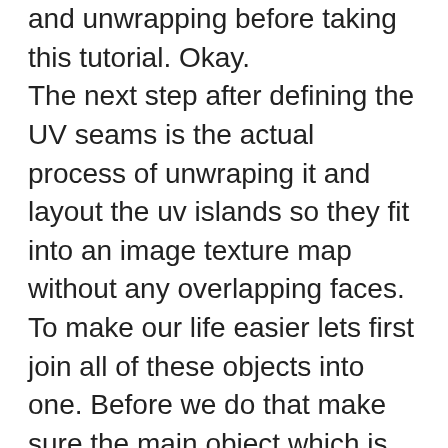and unwrapping before taking this tutorial. Okay. The next step after defining the UV seams is the actual process of unwraping it and layout the uv islands so they fit into an image texture map without any overlapping faces. To make our life easier lets first join all of these objects into one. Before we do that make sure the main object which is this pot in our case has the default scale values of 1. If not. Select the pot object and press ctrl+A then select scale to apply the scale transformation. Okay to join all of these objects, first we need to make sure that we are in object mode. Then select all of them by pressing “A”. Then make sure the